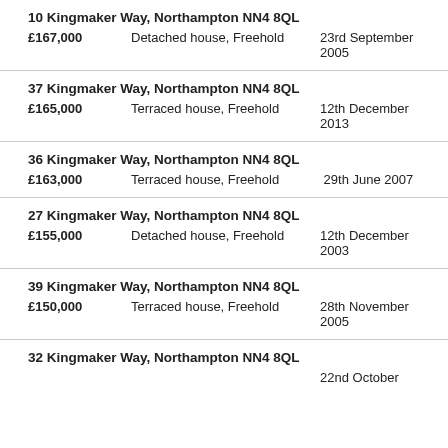10 Kingmaker Way, Northampton NN4 8QL — £167,000 — Detached house, Freehold — 23rd September 2005
37 Kingmaker Way, Northampton NN4 8QL — £165,000 — Terraced house, Freehold — 12th December 2013
36 Kingmaker Way, Northampton NN4 8QL — £163,000 — Terraced house, Freehold — 29th June 2007
27 Kingmaker Way, Northampton NN4 8QL — £155,000 — Detached house, Freehold — 12th December 2003
39 Kingmaker Way, Northampton NN4 8QL — £150,000 — Terraced house, Freehold — 28th November 2005
32 Kingmaker Way, Northampton NN4 8QL — 22nd October